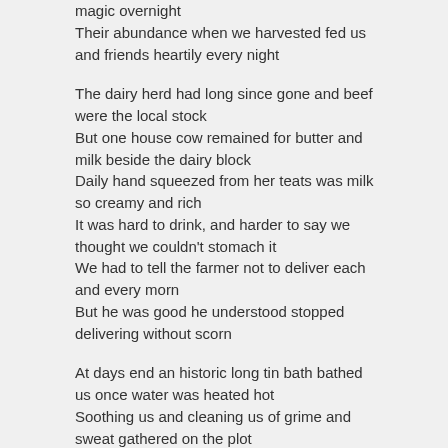magic overnight
Their abundance when we harvested fed us and friends heartily every night
The dairy herd had long since gone and beef were the local stock
But one house cow remained for butter and milk beside the dairy block
Daily hand squeezed from her teats was milk so creamy and rich
It was hard to drink, and harder to say we thought we couldn't stomach it
We had to tell the farmer not to deliver each and every morn
But he was good he understood stopped delivering without scorn
At days end an historic long tin bath bathed us once water was heated hot
Soothing us and cleaning us of grime and sweat gathered on the plot
The back step was the place to sit for weaving, sewing and repair
The hammock was the place to hang and relax